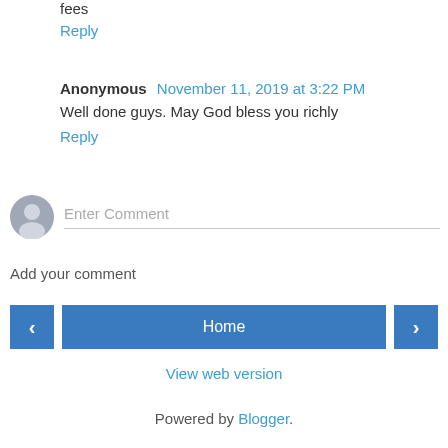fees
Reply
Anonymous  November 11, 2019 at 3:22 PM
Well done guys. May God bless you richly
Reply
Enter Comment
Add your comment
‹  Home  ›
View web version
Powered by Blogger.